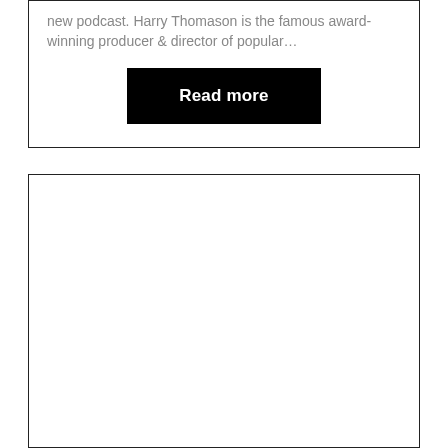new podcast. Harry Thomason is the famous award-winning producer & director of popular...
Read more
[Figure (other): Empty bordered box (second card area, no content)]